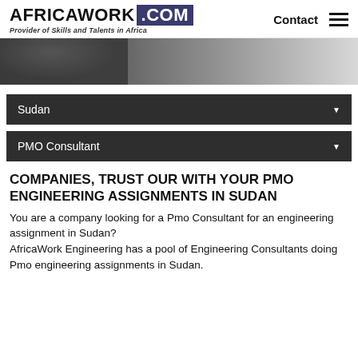AFRICAWORK .COM — Provider of Skills and Talents in Africa — Contact
[Figure (photo): Partial view of a person, dark-toned hero banner image with gradient fade to white on the right]
Sudan ▼
PMO Consultant ▼
COMPANIES, TRUST OUR WITH YOUR PMO ENGINEERING ASSIGNMENTS IN SUDAN
You are a company looking for a Pmo Consultant for an engineering assignment in Sudan? AfricaWork Engineering has a pool of Engineering Consultants doing Pmo engineering assignments in Sudan.